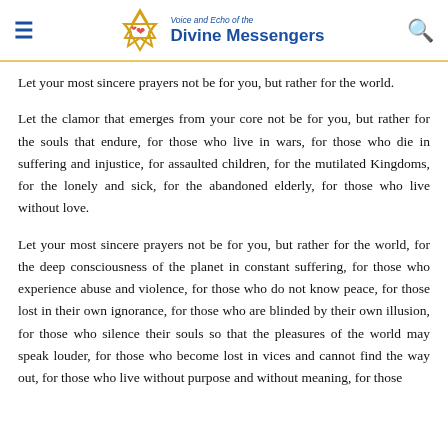Voice and Echo of the Divine Messengers
Let your most sincere prayers not be for you, but rather for the world.
Let the clamor that emerges from your core not be for you, but rather for the souls that endure, for those who live in wars, for those who die in suffering and injustice, for assaulted children, for the mutilated Kingdoms, for the lonely and sick, for the abandoned elderly, for those who live without love.
Let your most sincere prayers not be for you, but rather for the world, for the deep consciousness of the planet in constant suffering, for those who experience abuse and violence, for those who do not know peace, for those lost in their own ignorance, for those who are blinded by their own illusion, for those who silence their souls so that the pleasures of the world may speak louder, for those who become lost in vices and cannot find the way out, for those who live without purpose and without meaning, for those